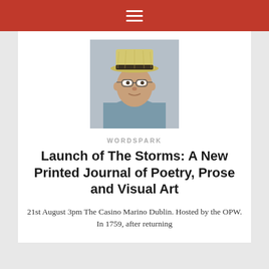≡
[Figure (photo): Portrait photo of an older man wearing a straw hat with dark band and glasses, light blue/grey shirt, light gray background.]
WORDSPARK
Launch of The Storms: A New Printed Journal of Poetry, Prose and Visual Art
21st August 3pm The Casino Marino Dublin. Hosted by the OPW. In 1759, after returning
[Figure (photo): Same portrait photo of an older man wearing a straw hat repeated at the bottom of the page.]